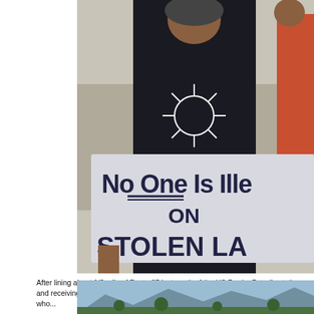[Figure (photo): Person wearing a black t-shirt with a sun design, holding a large handwritten sign that reads 'No One Is Illegal On Stolen Land' (partially cropped on the right). Background shows a gravel parking area and another person visible on the right side.]
After lining about 1/2 mile of Route 85 just south of the US Border Patrol's station and receiving support from passing motorists, the protesters split into two groups who...
The inner ring was comprised of native peoples who participated in a ceremony b...
[Figure (photo): Partial photo showing blue mountains and green desert vegetation at the bottom of the page, cropped.]